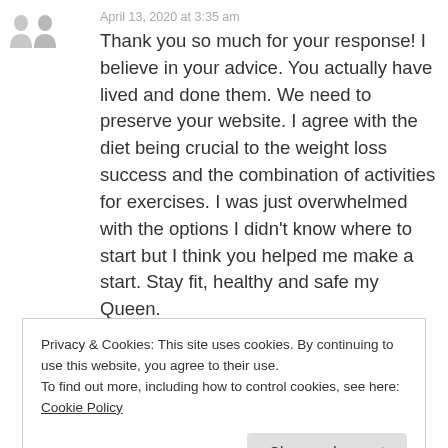[Figure (illustration): Two overlapping grey default avatar silhouette icons]
April 13, 2020 at 3:35 am
Thank you so much for your response! I believe in your advice. You actually have lived and done them. We need to preserve your website. I agree with the diet being crucial to the weight loss success and the combination of activities for exercises. I was just overwhelmed with the options I didn't know where to start but I think you helped me make a start. Stay fit, healthy and safe my Queen.
Privacy & Cookies: This site uses cookies. By continuing to use this website, you agree to their use.
To find out more, including how to control cookies, see here: Cookie Policy
Close and accept
Thank you so much! I need to get back